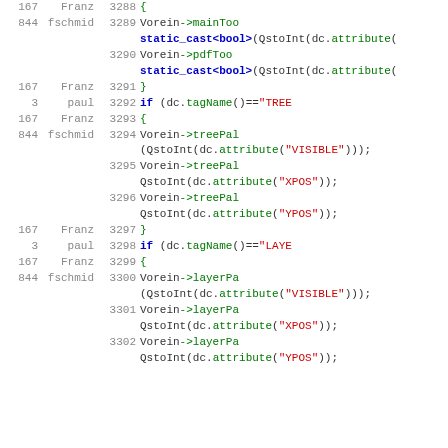Source code diff view with line numbers, authors, and C++ code lines 3288-3302
| num | user | line | code |
| --- | --- | --- | --- |
| 167 | Franz | 3288 | { |
| 844 | fschmid | 3289 | Vorein->mainToo... static_cast<bool>(QStoInt(dc.attribute( |
|  |  | 3290 | Vorein->pdfTool... static_cast<bool>(QStoInt(dc.attribute( |
| 167 | Franz | 3291 | } |
| 3 | paul | 3292 | if (dc.tagName()=="TREE... |
| 167 | Franz | 3293 | { |
| 844 | fschmid | 3294 | Vorein->treePal... (QStoInt(dc.attribute("VISIBLE"))); |
|  |  | 3295 | Vorein->treePal... QStoInt(dc.attribute("XPOS")); |
|  |  | 3296 | Vorein->treePal... QStoInt(dc.attribute("YPOS")); |
| 167 | Franz | 3297 | } |
| 3 | paul | 3298 | if (dc.tagName()=="LAYE... |
| 167 | Franz | 3299 | { |
| 844 | fschmid | 3300 | Vorein->layerPa... (QStoInt(dc.attribute("VISIBLE"))); |
|  |  | 3301 | Vorein->layerPa... QStoInt(dc.attribute("XPOS")); |
|  |  | 3302 | Vorein->layerPa... QStoInt(dc.attribute("YPOS")); |